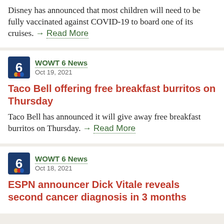Disney has announced that most children will need to be fully vaccinated against COVID-19 to board one of its cruises. → Read More
WOWT 6 News
Oct 19, 2021
Taco Bell offering free breakfast burritos on Thursday
Taco Bell has announced it will give away free breakfast burritos on Thursday. → Read More
WOWT 6 News
Oct 18, 2021
ESPN announcer Dick Vitale reveals second cancer diagnosis in 3 months